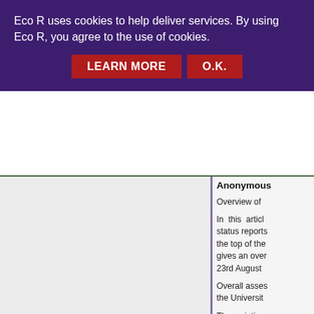Eco R uses cookies to help deliver services. By using Eco R, you agree to the use of cookies.
LEARN MORE   O.K.
Anonymous
Overview of
In this article status reports the top of the gives an over 23rd August
Overall asses the Universit
The aviation subglacial eru the volume o before lava r the ice, and